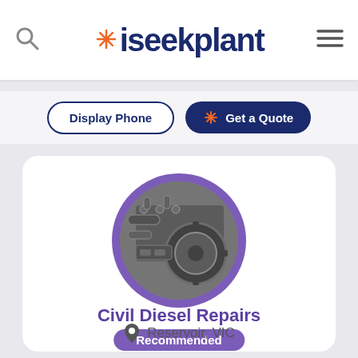iseekplant
Display Phone
Get a Quote
[Figure (logo): Circular profile image with purple ring border showing a black and white diesel engine/machinery photo]
Civil Diesel Repairs
Recommended
Reservoir, VIC